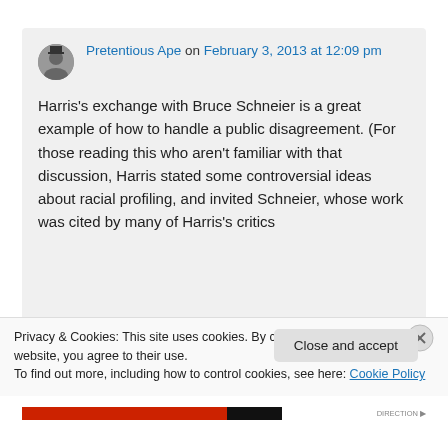Pretentious Ape on February 3, 2013 at 12:09 pm
Harris's exchange with Bruce Schneier is a great example of how to handle a public disagreement. (For those reading this who aren't familiar with that discussion, Harris stated some controversial ideas about racial profiling, and invited Schneier, whose work was cited by many of Harris's critics
Privacy & Cookies: This site uses cookies. By continuing to use this website, you agree to their use.
To find out more, including how to control cookies, see here: Cookie Policy
Close and accept